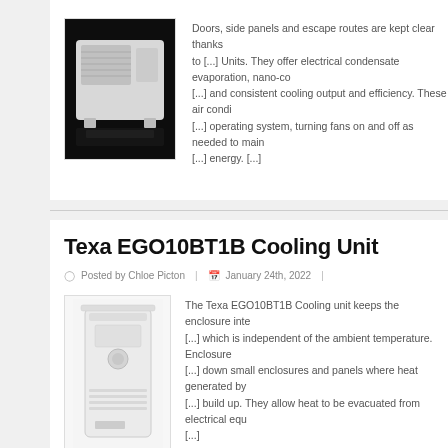[Figure (photo): Top-mounted air conditioning unit on dark background]
Doors, side panels and escape routes are kept clear thanks to [...] Units. They offer electrical condensate evaporation, nano-co [...] and consistent cooling output and efficiency. These air condi [...] operating system, turning fans on and off as needed to main [...] energy. [...]
Texa EGO10BT1B Cooling Unit
Posted by Chloe Picton | January 24th, 2022
[Figure (photo): Texa EGO10BT1B wall-mounted cooling unit, white, vertical orientation]
The Texa EGO10BT1B Cooling unit keeps the enclosure inte [...] which is independent of the ambient temperature. Enclosure [...] down small enclosures and panels where heat generated by [...] build up. They allow heat to be evacuated from electrical equ [...]